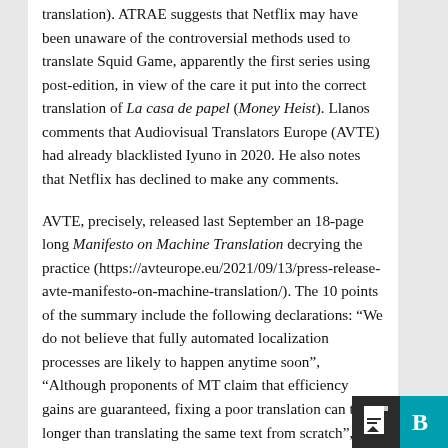translation). ATRAE suggests that Netflix may have been unaware of the controversial methods used to translate Squid Game, apparently the first series using post-edition, in view of the care it put into the correct translation of La casa de papel (Money Heist). Llanos comments that Audiovisual Translators Europe (AVTE) had already blacklisted Iyuno in 2020. He also notes that Netflix has declined to make any comments.
AVTE, precisely, released last September an 18-page long Manifesto on Machine Translation decrying the practice (https://avteurope.eu/2021/09/13/press-release-avte-manifesto-on-machine-translation/). The 10 points of the summary include the following declarations: “We do not believe that fully automated localization processes are likely to happen anytime soon”, “Although proponents of MT claim that efficiency gains are guaranteed, fixing a poor translation can take longer than translating the same text from scratch”, “To reinforce sustainability, translators’ working conditions need to be improved”, and “Translators are often not aware that their work is used to train engines, nor are they remunerated for this”. This d